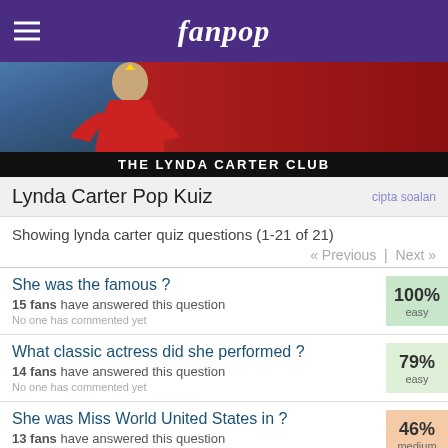fanpop
[Figure (photo): Lynda Carter as Wonder Woman hero banner image on red background]
THE LYNDA CARTER CLUB
Lynda Carter Pop Kuiz
Showing lynda carter quiz questions (1-21 of 21)
« Previous | Next »
She was the famous ? — 15 fans have answered this question — No one has commented yet — 100% easy
What classic actress did she performed ? — 14 fans have answered this question — No one has commented yet — 79% easy
She was Miss World United States in ? — 13 fans have answered this question — No one has commented yet — 46% medium
Which TV tunjuk is this picture from ? — 13 fans have answered this question — 69% medium